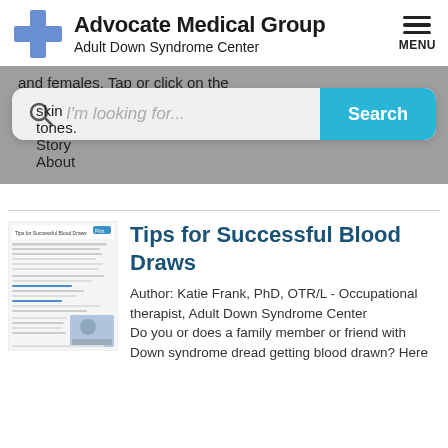Advocate Medical Group Adult Down Syndrome Center
and females. Tap or click on the skin tones. Story About
[Figure (screenshot): Search bar with 'I'm looking for...' placeholder and cyan Search button, overlaid on gray band]
[Figure (screenshot): Thumbnail preview of 'Tips for Successful Blood Draws' article document]
Tips for Successful Blood Draws
Author: Katie Frank, PhD, OTR/L - Occupational therapist, Adult Down Syndrome Center
Do you or does a family member or friend with Down syndrome dread getting blood drawn? Here